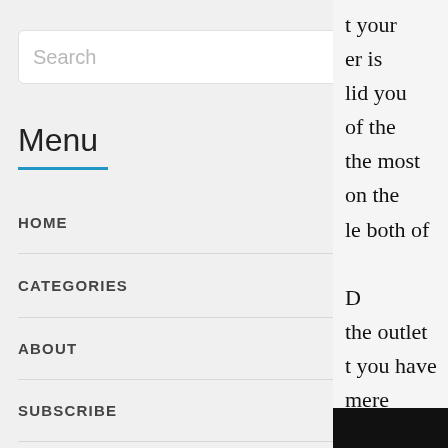[Figure (screenshot): Search input box with placeholder text 'Search' and a search icon on the right]
Menu
HOME
CATEGORIES
ABOUT
SUBSCRIBE
CONTACT
your
er is
lid you
of the
the most
on the
le both of

D
the outlet
t you have
mere
t-sensing